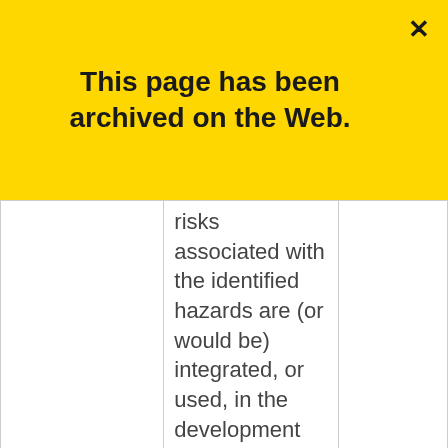[Figure (infographic): Yellow archive banner overlay with bold text: 'This page has been archived on the Web.' with a close (×) button in the top right corner.]
|  | risks associated with the identified hazards are (or would be) integrated, or used, in the development and maintenance of the EM Program. |  |
|  | Status: Non-Compliant |  |